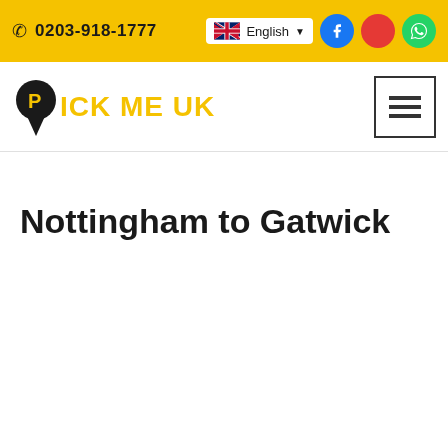0203-918-1777 | English
[Figure (logo): Pick Me UK logo with pin icon and yellow text]
Nottingham to Gatwick